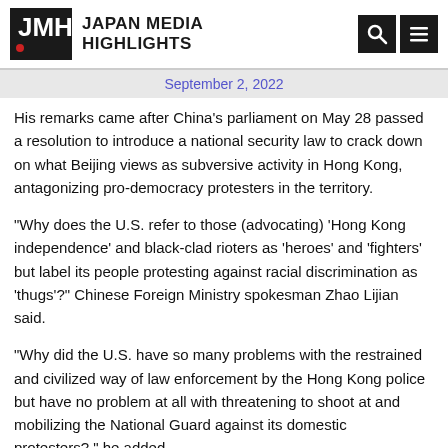Japan Media Highlights
September 2, 2022
His remarks came after China's parliament on May 28 passed a resolution to introduce a national security law to crack down on what Beijing views as subversive activity in Hong Kong, antagonizing pro-democracy protesters in the territory.
“Why does the U.S. refer to those (advocating) ‘Hong Kong independence’ and black-clad rioters as ‘heroes’ and ‘fighters’ but label its people protesting against racial discrimination as ‘thugs’?” Chinese Foreign Ministry spokesman Zhao Lijian said.
“Why did the U.S. have so many problems with the restrained and civilized way of law enforcement by the Hong Kong police but have no problem at all with threatening to shoot at and mobilizing the National Guard against its domestic protesters?,” he added.